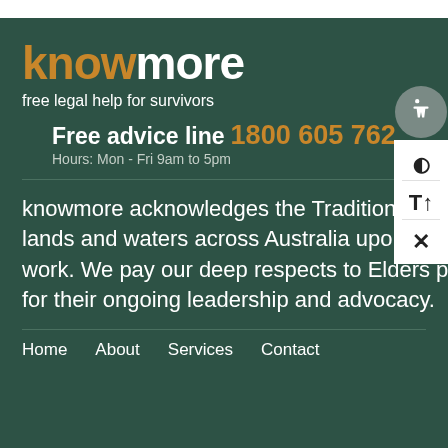knowmore — free legal help for survivors
Free advice line 1800 605 762
Hours: Mon - Fri 9am to 5pm
knowmore acknowledges the Traditional Owners of the lands and waters across Australia upon which we live and work. We pay our deep respects to Elders past and present for their ongoing leadership and advocacy.
Home   About   Services   Contact